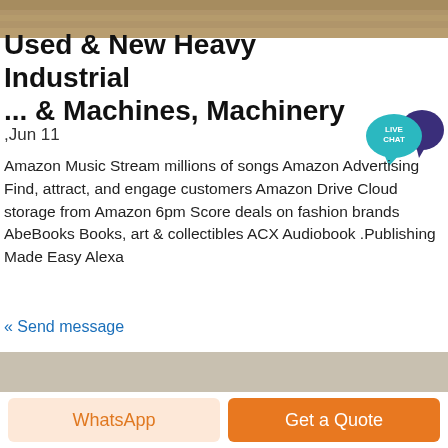[Figure (photo): Top banner photo of outdoor gravel/ground surface]
Used & New Heavy Industrial ... & Machines, Machinery
,Jun 11
[Figure (infographic): Live Chat speech bubble badge in teal and dark purple]
Amazon Music Stream millions of songs Amazon Advertising Find, attract, and engage customers Amazon Drive Cloud storage from Amazon 6pm Score deals on fashion brands AbeBooks Books, art & collectibles ACX Audiobook .Publishing Made Easy Alexa
« Send message
[Figure (photo): Photo of a red heavy industrial machine/equipment on concrete ground]
WhatsApp
Get a Quote